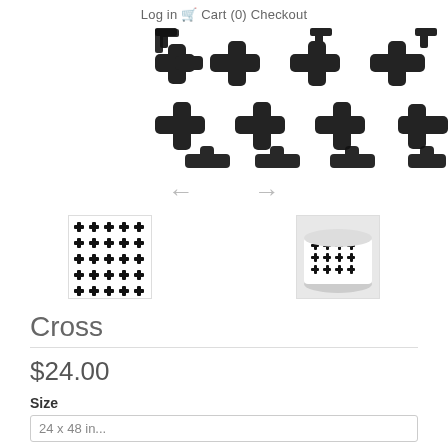Log in  Cart (0)  Checkout
[Figure (photo): Main product image showing a repeating black cross/plus pattern on white background, paintbrush style, shown as a wide banner crop]
[Figure (other): Left/right navigation arrows (← →) for image carousel]
[Figure (photo): Thumbnail 1: Square swatch of black cross pattern on white background]
[Figure (photo): Thumbnail 2: Rolled wallpaper showing black cross pattern on white background]
Cross
$24.00
Size
24 x 48 inches